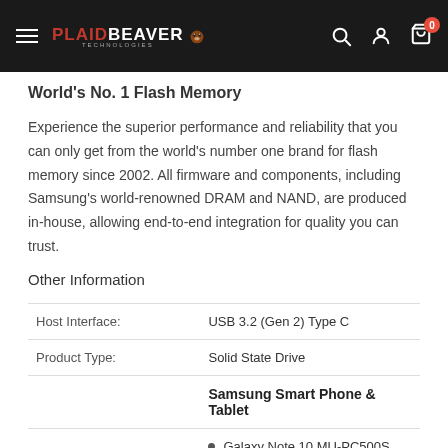PLAIDBEAVER Technologies — navigation header with search, account, and cart icons
World's No. 1 Flash Memory
Experience the superior performance and reliability that you can only get from the world's number one brand for flash memory since 2002. All firmware and components, including Samsung's world-renowned DRAM and NAND, are produced in-house, allowing end-to-end integration for quality you can trust.
Other Information
| Host Interface: | USB 3.2 (Gen 2) Type C |
| Product Type: | Solid State Drive |
|  | Samsung Smart Phone & Tablet |
|  | Galaxy Note 10 MU-PC500S |